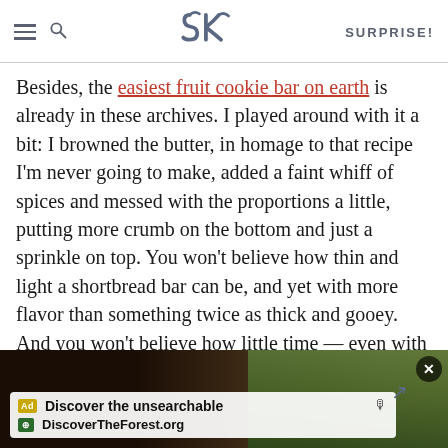SK — SURPRISE!
Besides, the easiest fruit cookie bar on earth is already in these archives. I played around with it a bit: I browned the butter, in homage to that recipe I'm never going to make, added a faint whiff of spices and messed with the proportions a little, putting more crumb on the bottom and just a sprinkle on top. You won't believe how thin and light a shortbread bar can be, and yet with more flavor than something twice as thick and gooey. And you won't believe how little time — even with the brown butter step — this takes and how fitting that makes them for a weekend that you'd rather spend soaking up the last of summer.
[Figure (screenshot): Advertisement banner for DiscoverTheForest.org showing 'Discover the unsearchable' text with people hiking in a forest background, with a close button (×) in the top right corner.]